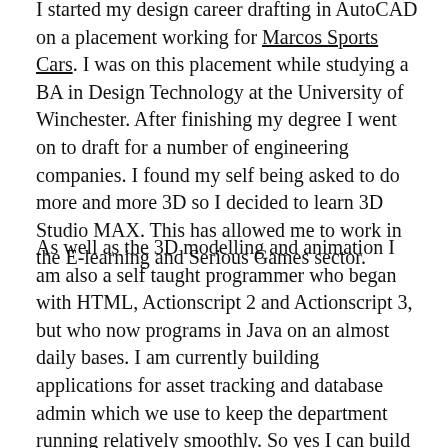I started my design career drafting in AutoCAD on a placement working for Marcos Sports Cars. I was on this placement while studying a BA in Design Technology at the University of Winchester. After finishing my degree I went on to draft for a number of engineering companies. I found my self being asked to do more and more 3D so I decided to learn 3D Studio MAX. This has allowed me to work in the E-learning and Serious Games sector.
As well as the 3D modelling and animation I am also a self taught programmer who began with HTML, Actionscript 2 and Actionscript 3, but who now programs in Java on an almost daily bases. I am currently building applications for asset tracking and database admin which we use to keep the department running relatively smoothly. So yes I can build graphical assets and code. I have also built a number of in house mobile applications in Adobe